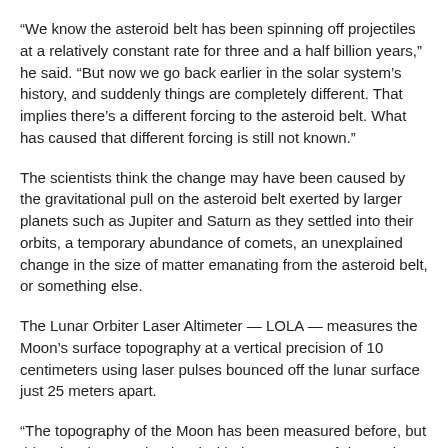“We know the asteroid belt has been spinning off projectiles at a relatively constant rate for three and a half billion years,” he said. “But now we go back earlier in the solar system’s history, and suddenly things are completely different. That implies there’s a different forcing to the asteroid belt. What has caused that different forcing is still not known.”
The scientists think the change may have been caused by the gravitational pull on the asteroid belt exerted by larger planets such as Jupiter and Saturn as they settled into their orbits, a temporary abundance of comets, an unexplained change in the size of matter emanating from the asteroid belt, or something else.
The Lunar Orbiter Laser Altimeter — LOLA — measures the Moon’s surface topography at a vertical precision of 10 centimeters using laser pulses bounced off the lunar surface just 25 meters apart.
“The topography of the Moon has been measured before, but this takes it to another level with the accuracy of data points and spatial resolution,” said Maria Zuber, a planetary geologist at MIT who earned her doctorate at Brown in 1986 and is a contributing author to the paper.
Seth Kadish, a graduate student at Brown, contributed to the study by